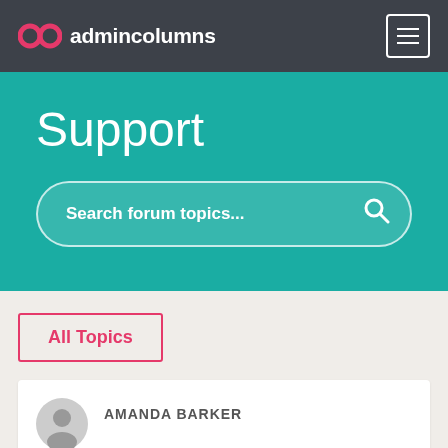ac admincolumns
Support
Search forum topics...
All Topics
AMANDA BARKER